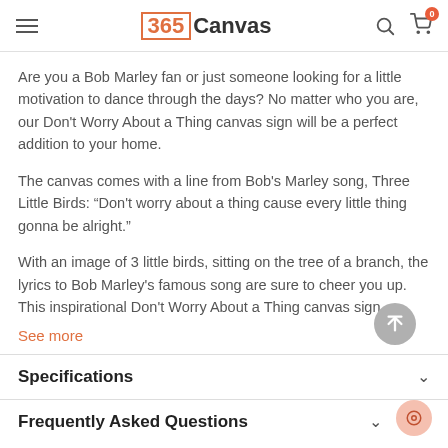365Canvas
Are you a Bob Marley fan or just someone looking for a little motivation to dance through the days? No matter who you are, our Don't Worry About a Thing canvas sign will be a perfect addition to your home.
The canvas comes with a line from Bob's Marley song, Three Little Birds: “Don't worry about a thing cause every little thing gonna be alright.”
With an image of 3 little birds, sitting on the tree of a branch, the lyrics to Bob Marley's famous song are sure to cheer you up. This inspirational Don't Worry About a Thing canvas sign
See more
Specifications
Frequently Asked Questions